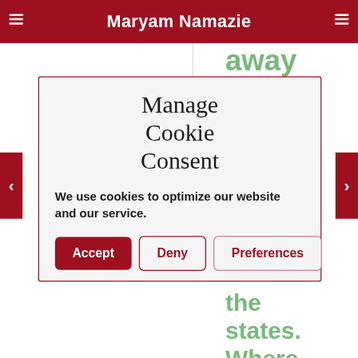Maryam Namazie
away
from
[Figure (screenshot): Cookie consent modal dialog with title 'Manage Cookie Consent', body text 'We use cookies to optimize our website and our service.', and three buttons: Accept, Deny, Preferences]
the
states.
Where
are you
from?